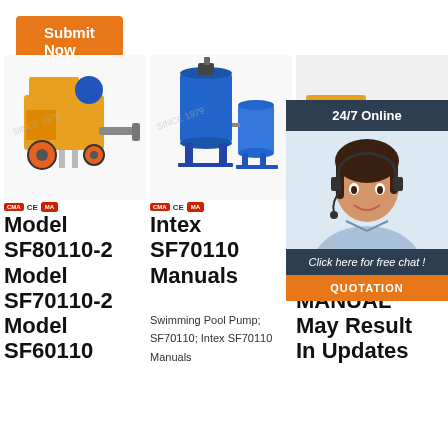[Figure (other): Orange 'Submit Now' button at top left]
[Figure (photo): Yellow/orange mortar spraying machine (Model SF80110-2) with blue motor and orange wheels]
[Figure (photo): Blue industrial pump/mixing machine (Intex SF70110)]
[Figure (photo): Third product partially visible, overlaid with 24/7 customer service chat panel]
Model SF80110-2 Model SF70110-2 Model SF60110
Intex SF70110 Manuals
Swimming Pool Pump; SF70110; Intex SF70110 Manuals
SAFETY RULES OWNER'S MANUAL May Result In Updates